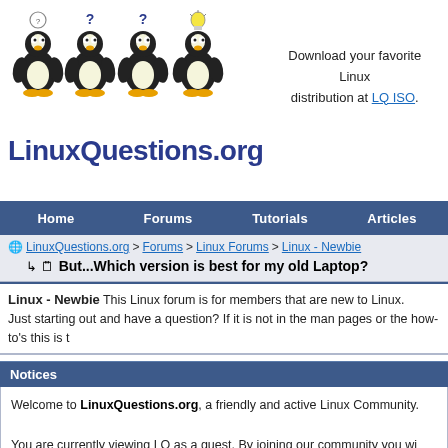[Figure (logo): LinuxQuestions.org logo with four Tux penguins and question marks, site name below]
Download your favorite Linux distribution at LQ ISO.
Home   Forums   Tutorials   Articles
LinuxQuestions.org > Forums > Linux Forums > Linux - Newbie
But...Which version is best for my old Laptop?
Linux - Newbie This Linux forum is for members that are new to Linux. Just starting out and have a question? If it is not in the man pages or the how-to's this is t
Notices
Welcome to LinuxQuestions.org, a friendly and active Linux Community. You are currently viewing LQ as a guest. By joining our community you wi newsletter, use the advanced search, subscribe to threads and access ma simple and absolutely free. Join our community today!